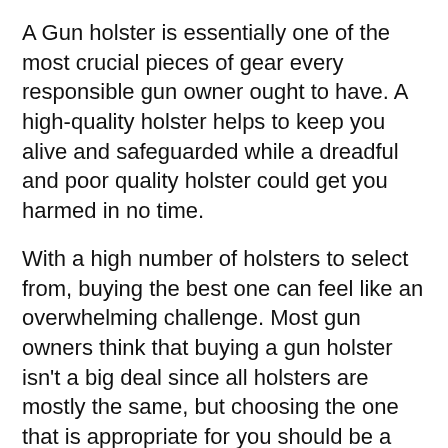A Gun holster is essentially one of the most crucial pieces of gear every responsible gun owner ought to have. A high-quality holster helps to keep you alive and safeguarded while a dreadful and poor quality holster could get you harmed in no time.
With a high number of holsters to select from, buying the best one can feel like an overwhelming challenge. Most gun owners think that buying a gun holster isn't a big deal since all holsters are mostly the same, but choosing the one that is appropriate for you should be a top priority.
The importance of the ideal holster becomes crystal clear when you consider the lots of advantages holsters typically offer. The most critical benefit of having a gun holster is that's it safeguards you and your gun. Putting a gun in